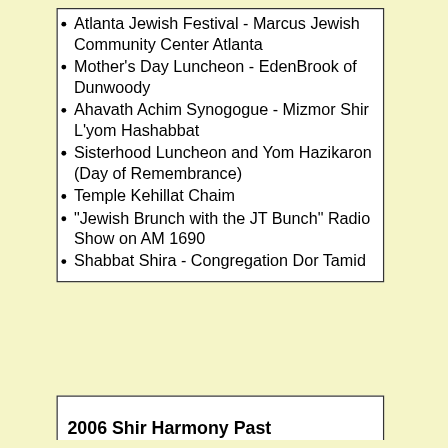Atlanta Jewish Festival - Marcus Jewish Community Center Atlanta
Mother's Day Luncheon - EdenBrook of Dunwoody
Ahavath Achim Synogogue - Mizmor Shir L'yom Hashabbat
Sisterhood Luncheon and Yom Hazikaron (Day of Remembrance)
Temple Kehillat Chaim
"Jewish Brunch with the JT Bunch" Radio Show on AM 1690
Shabbat Shira - Congregation Dor Tamid
2006 Shir Harmony Past Performance history